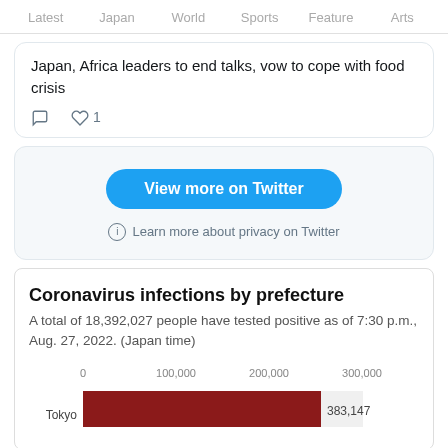Latest  Japan  World  Sports  Feature  Arts
Japan, Africa leaders to end talks, vow to cope with food crisis
comment 0  heart 1
View more on Twitter
Learn more about privacy on Twitter
Coronavirus infections by prefecture
A total of 18,392,027 people have tested positive as of 7:30 p.m., Aug. 27, 2022. (Japan time)
[Figure (bar-chart): Coronavirus infections by prefecture]